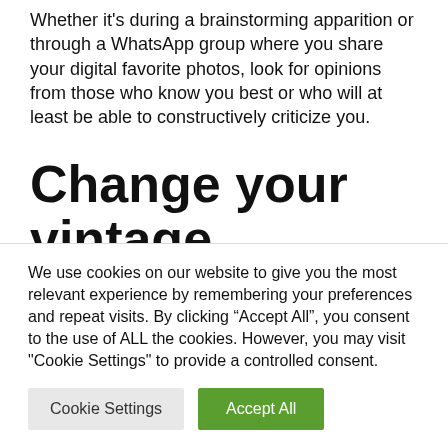Whether it's during a brainstorming apparition or through a WhatsApp group where you share your digital favorite photos, look for opinions from those who know you best or who will at least be able to constructively criticize you.
Change your vintage wedding dress
We use cookies on our website to give you the most relevant experience by remembering your preferences and repeat visits. By clicking “Accept All”, you consent to the use of ALL the cookies. However, you may visit "Cookie Settings" to provide a controlled consent.